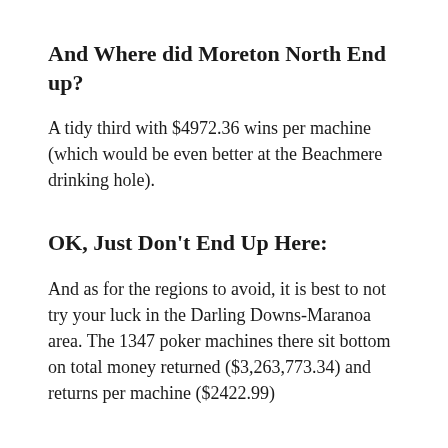And Where did Moreton North End up?
A tidy third with $4972.36 wins per machine (which would be even better at the Beachmere drinking hole).
OK, Just Don’t End Up Here:
And as for the regions to avoid, it is best to not try your luck in the Darling Downs-Maranoa area. The 1347 poker machines there sit bottom on total money returned ($3,263,773.34) and returns per machine ($2422.99)